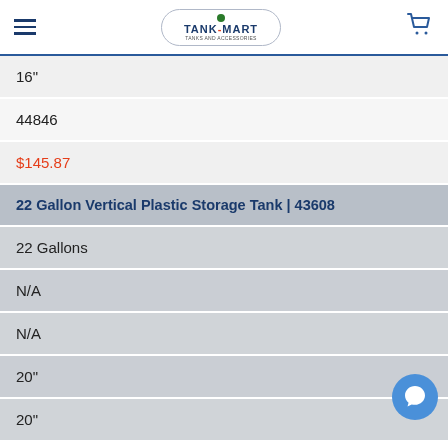Tank-Mart
16"
44846
$145.87
22 Gallon Vertical Plastic Storage Tank | 43608
22 Gallons
N/A
N/A
20"
20"